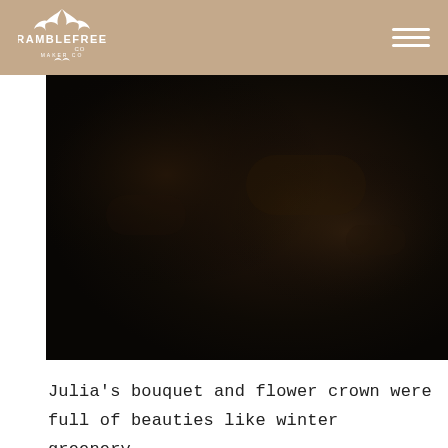RAMBLEFREE CO — navigation header with logo and hamburger menu
[Figure (photo): Dark moody photograph with very dark brown/black tones suggesting a nature or floral scene with low lighting, almost completely dark image]
Julia's bouquet and flower crown were full of beauties like winter greenery,